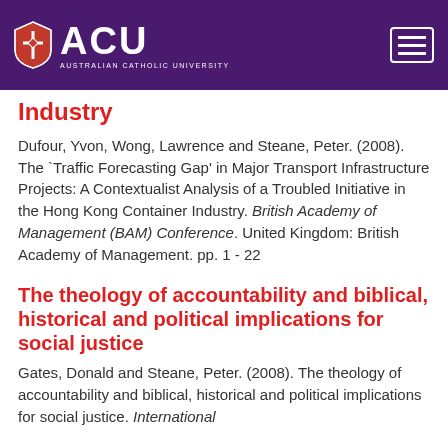[Figure (logo): ACU (Australian Catholic University) logo with shield and text on purple header bar with hamburger menu button]
Industry
Dufour, Yvon, Wong, Lawrence and Steane, Peter. (2008). The `Traffic Forecasting Gap' in Major Transport Infrastructure Projects: A Contextualist Analysis of a Troubled Initiative in the Hong Kong Container Industry. British Academy of Management (BAM) Conference. United Kingdom: British Academy of Management. pp. 1 - 22
The theology of accountability and biblical, historical and political implications for social justice
Gates, Donald and Steane, Peter. (2008). The theology of accountability and biblical, historical and political implications for social justice. International